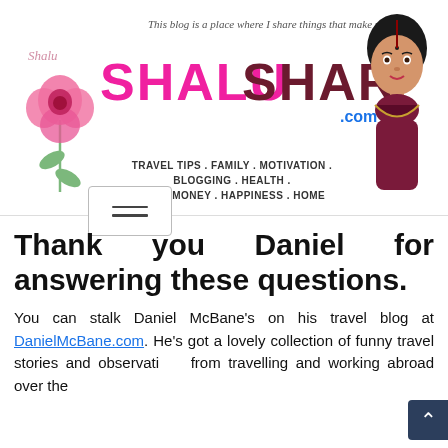[Figure (logo): ShaluSharma.com blog logo with tagline, pink flower decoration, and avatar illustration. Logo text reads SHALUSHARMA.com in pink and dark red. Tagline: 'This blog is a place where I share things that make me happy'. Categories: TRAVEL TIPS . FAMILY . MOTIVATION . BLOGGING . HEALTH . LIFE . MONEY . HAPPINESS . HOME]
Thank you Daniel for answering these questions.
You can stalk Daniel McBane's on his travel blog at DanielMcBane.com. He's got a lovely collection of funny travel stories and observations from travelling and working abroad over the